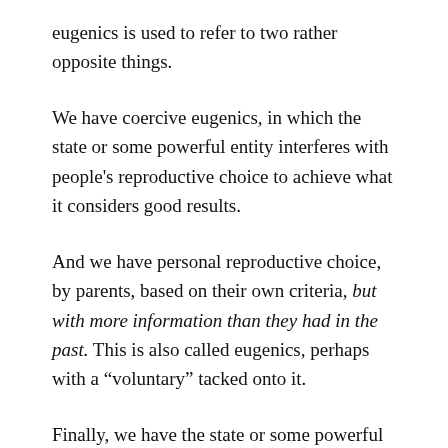eugenics is used to refer to two rather opposite things.
We have coercive eugenics, in which the state or some powerful entity interferes with people's reproductive choice to achieve what it considers good results.
And we have personal reproductive choice, by parents, based on their own criteria, but with more information than they had in the past. This is also called eugenics, perhaps with a “voluntary” tacked onto it.
Finally, we have the state or some powerful entity interfering with people using certain information for